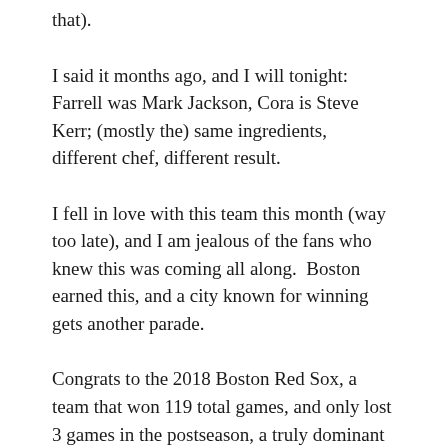that).
I said it months ago, and I will tonight: Farrell was Mark Jackson, Cora is Steve Kerr; (mostly the) same ingredients, different chef, different result.
I fell in love with this team this month (way too late), and I am jealous of the fans who knew this was coming all along.  Boston earned this, and a city known for winning gets another parade.
Congrats to the 2018 Boston Red Sox, a team that won 119 total games, and only lost 3 games in the postseason, a truly dominant effort.